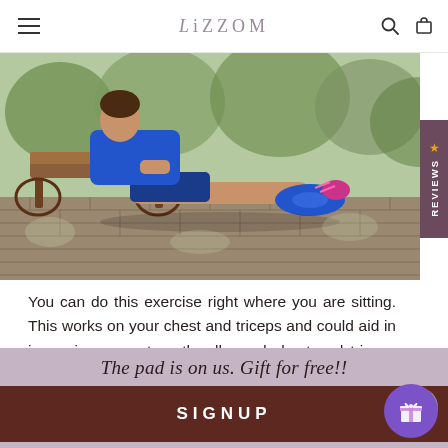LiZZOM
[Figure (photo): Person doing tricep dips on a park bench outdoors, wearing blue top, black shorts and blue/pink sneakers, on a brick paved surface with trees in background.]
You can do this exercise right where you are sitting. This works on your chest and triceps and could aid in improving your strength, all-round chest and triceps development, and strengthening your ability to push with hands.
The pad is on us. Gift for free!!
SIGNUP